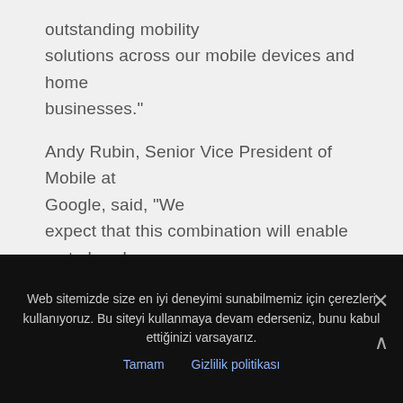outstanding mobility solutions across our mobile devices and home businesses."
Andy Rubin, Senior Vice President of Mobile at Google, said, "We expect that this combination will enable us to break new ground for the Android ecosystem. However, our vision for Android is unchanged and Google remains firmly committed to Android as an open platform and a
Web sitemizde size en iyi deneyimi sunabilmemiz için çerezleri kullanıyoruz. Bu siteyi kullanmaya devam ederseniz, bunu kabul ettiğinizi varsayarız.
Tamam   Gizlilik politikası